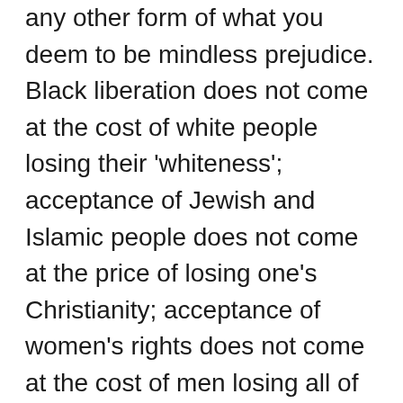any other form of what you deem to be mindless prejudice. Black liberation does not come at the cost of white people losing their 'whiteness'; acceptance of Jewish and Islamic people does not come at the price of losing one's Christianity; acceptance of women's rights does not come at the cost of men losing all of theirs. Nowhere in other prejudices does the tolerance come at the eradication of self, even if that might be feared.

Trans genderism will come as a massive